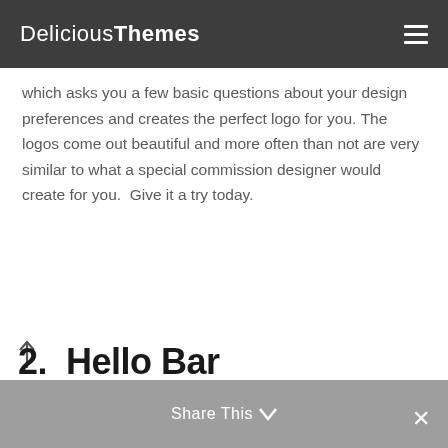DeliciousThemes
which asks you a few basic questions about your design preferences and creates the perfect logo for you. The logos come out beautiful and more often than not are very similar to what a special commission designer would create for you.  Give it a try today.
2.  Hello Bar
Share This ∨  ✕